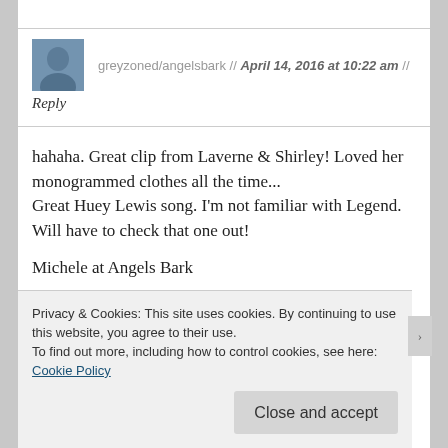[Figure (photo): Small square avatar photo of a person, appearing to show a woman with dark hair]
greyzoned/angelsbark // April 14, 2016 at 10:22 am //
Reply
hahaha. Great clip from Laverne & Shirley! Loved her monogrammed clothes all the time...
Great Huey Lewis song. I'm not familiar with Legend. Will have to check that one out!
Michele at Angels Bark
Privacy & Cookies: This site uses cookies. By continuing to use this website, you agree to their use.
To find out more, including how to control cookies, see here: Cookie Policy
Close and accept